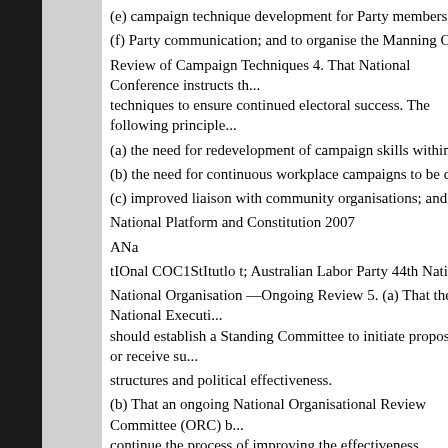(e) campaign technique development for Party members and constituent...
(f) Party communication; and to organise the Manning Clark Labor Histor...
Review of Campaign Techniques 4. That National Conference instructs th... techniques to ensure continued electoral success. The following principle...
(a) the need for redevelopment of campaign skills within safe Labor seats...
(b) the need for continuous workplace campaigns to be developed in con...
(c) improved liaison with community organisations; and (d) continued dev...
National Platform and Constitution 2007
ANa
tIOnal COC1StItutlo t; Australian Labor Party 44th National Conference j...
National Organisation —Ongoing Review 5. (a) That the National Executi... should establish a Standing Committee to initiate proposals, or receive su...
structures and political effectiveness.
(b) That an ongoing National Organisational Review Committee (ORC) b... continue the process of improving the effectiveness, participation and acc...
(c) That the ORC undergo a consultative process with State Branches, u...
(a) strategies to increase the level of ALP branch membership;
(b) strategies to encourage more trade unions to affiliate to the ALP and t...
(c) strategies the ALP should consider in order to defeat coalition party p...
(d) strategies to increase the participation of women at all levels within th...
(d) That the National Secretariat provide adequate resources for the Co...